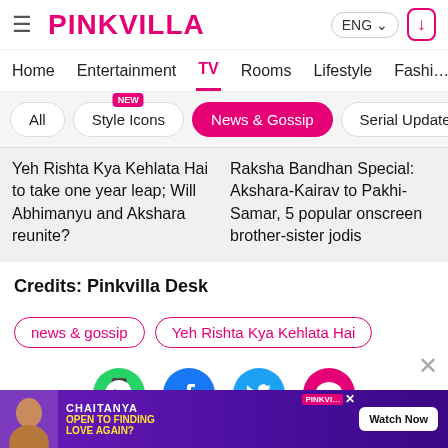PINKVILLA | ENG | Download
Home | Entertainment | TV | Rooms | Lifestyle | Fashion
All
Style Icons NEW
News & Gossip (active)
Serial Updates
Yeh Rishta Kya Kehlata Hai to take one year leap; Will Abhimanyu and Akshara reunite?
Raksha Bandhan Special: Akshara-Kairav to Pakhi-Samar, 5 popular onscreen brother-sister jodis
Credits: Pinkvilla Desk
news & gossip
Yeh Rishta Kya Kehlata Hai
[Figure (infographic): Social sharing icons: WhatsApp (green), Facebook (blue), Twitter (light blue), Comments (pink/red)]
[Figure (screenshot): Ad banner: Chaitanya - Open to Finding Love Again? Watch Now. Purple background with person photo.]